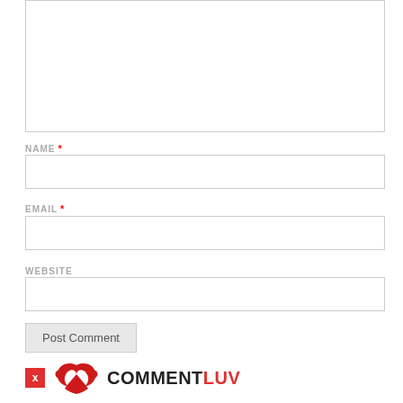[Figure (screenshot): Comment form textarea (empty, resizable)]
NAME *
[Figure (screenshot): Name input field (empty)]
EMAIL *
[Figure (screenshot): Email input field (empty)]
WEBSITE
[Figure (screenshot): Website input field (empty)]
Post Comment
[Figure (logo): CommentLuv logo with phoenix bird icon in red, X close button in red]